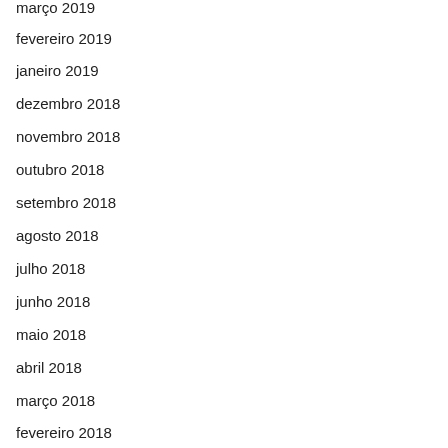março 2019
fevereiro 2019
janeiro 2019
dezembro 2018
novembro 2018
outubro 2018
setembro 2018
agosto 2018
julho 2018
junho 2018
maio 2018
abril 2018
março 2018
fevereiro 2018